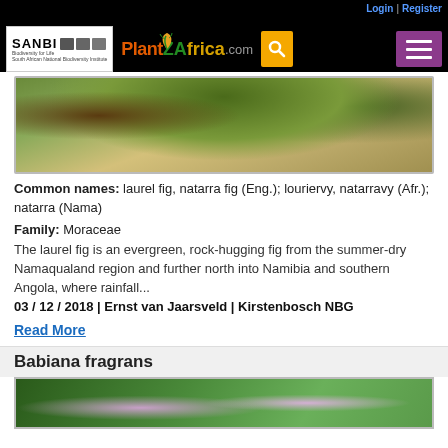Login | Register — PlantZAfrica.com — SANBI
[Figure (photo): Rock face with laurel fig plants growing on cliffs, showing green foliage over sandy/rocky terrain]
Common names: laurel fig, natarra fig (Eng.); louriervy, natarravy (Afr.); natarra (Nama)
Family: Moraceae
The laurel fig is an evergreen, rock-hugging fig from the summer-dry Namaqualand region and further north into Namibia and southern Angola, where rainfall...
03 / 12 / 2018 | Ernst van Jaarsveld | Kirstenbosch NBG
Read More
Babiana fragrans
[Figure (photo): Close-up photo of Babiana fragrans flowers with white/purple petals against green foliage]